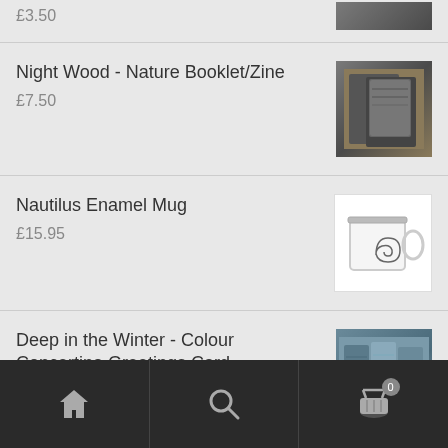£3.50
Night Wood - Nature Booklet/Zine
£7.50
Nautilus Enamel Mug
£15.95
Deep in the Winter - Colour Concertina Greetings Card
£4.25